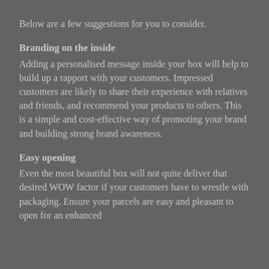Below are a few suggestions for you to consider.
Branding on the inside
Adding a personalised message inside your box will help to build up a rapport with your customers. Impressed customers are likely to share their experience with relatives and friends, and recommend your products to others. This is a simple and cost-effective way of promoting your brand and building strong brand awareness.
Easy opening
Even the most beautiful box will not quite deliver that desired WOW factor if your customers have to wrestle with packaging. Ensure your parcels are easy and pleasant to open for an enhanced